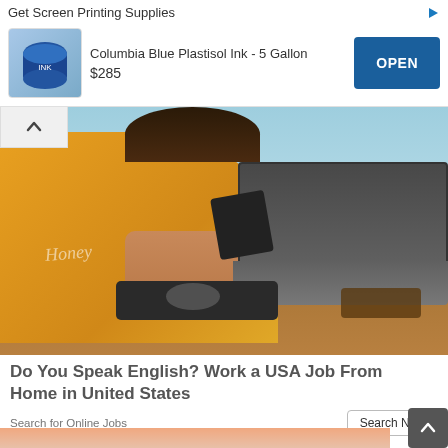Get Screen Printing Supplies
[Figure (photo): Advertisement banner for Columbia Blue Plastisol Ink - 5 Gallon, showing product image, price $285, and OPEN button]
[Figure (photo): Woman in yellow 'Honey' t-shirt working at a table outdoors with a laptop, mouse, and smartphone]
Do You Speak English? Work a USA Job From Home in United States
Search for Online Jobs
[Figure (photo): Partially visible image at the bottom of the page, showing what appears to be a person in light blue clothing]